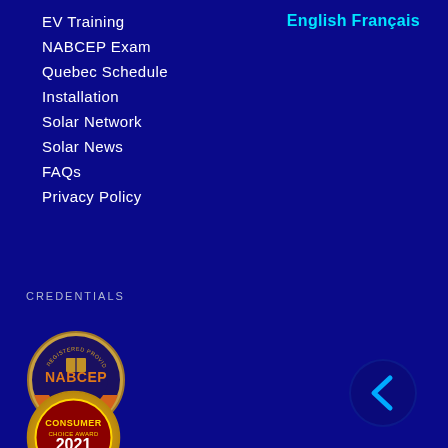English Français
EV Training
NABCEP Exam
Quebec Schedule
Installation
Solar Network
Solar News
FAQs
Privacy Policy
CREDENTIALS
[Figure (logo): NABCEP Registered Provider Photovoltaic Associate badge/seal]
[Figure (logo): Consumer Choice Award 2021 Vancouver gold medal badge]
[Figure (logo): Dark blue circular arrow button/icon in bottom right corner]